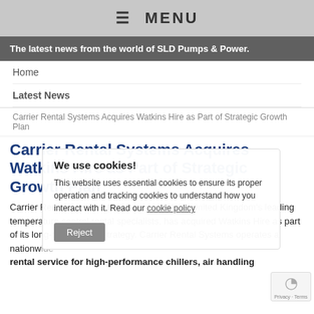≡ MENU
The latest news from the world of SLD Pumps & Power.
Home
Latest News
Carrier Rental Systems Acquires Watkins Hire as Part of Strategic Growth Plan
Carrier Rental Systems Acquires Watkins Hire as Part of Strategic Growth Plan
Carrier Rental Systems (UK) Ltd., one of the United Kingdom's leading temperature control rental specialists, has acquired Watkins Hire as part of its long-term growth strategy. Carrier Rental Systems operates a nationwide rental service for high-performance chillers, air handling
We use cookies!
This website uses essential cookies to ensure its proper operation and tracking cookies to understand how you interact with it. Read our cookie policy
Reject